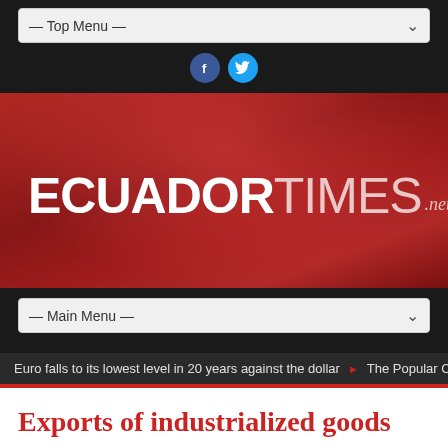— Top Menu —
[Figure (logo): Ecuador Times .net logo on red gradient banner background]
— Main Menu —
Euro falls to its lowest level in 20 years against the dollar  ▶  The Popular C
Exports of industrialized goods